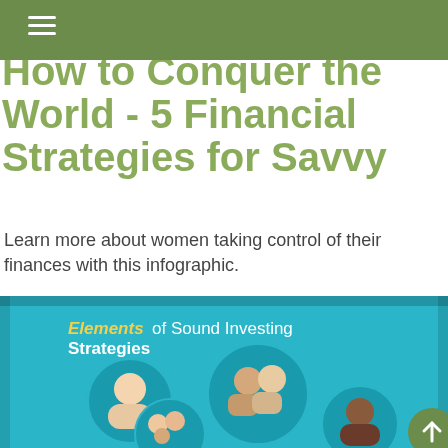How to Conquer the World - 5 Financial Strategies for Savvy
Learn more about women taking control of their finances with this infographic.
[Figure (photo): A tablet device displaying a teal-colored infographic titled 'Elements of Sound Investing Strategies' with circular portrait photos of diverse people including a young woman, an older couple, a family group, and another individual.]